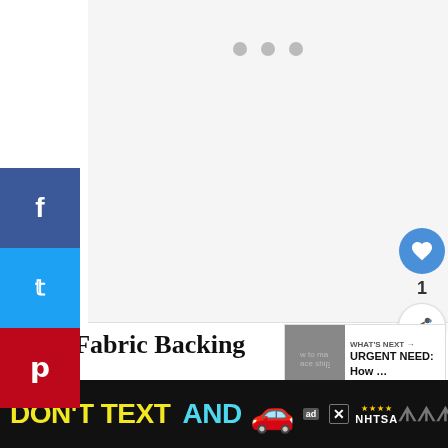[Figure (screenshot): Image slideshow area with three dot indicators at top, light gray background placeholder for article step image]
[Figure (screenshot): Social sharing sidebar with Facebook (blue), Twitter (light blue), and Pinterest (red) buttons on the left side]
[Figure (screenshot): Heart/like button (blue circle) showing count of 1, and share button below it on the right side]
Add Fabric Backing
[Figure (screenshot): What's Next promo box showing thumbnail and text 'WHAT'S NEXT → URGENT NEED: How ...']
After the plastic has cooled, apply your craft glue
[Figure (screenshot): Advertisement banner at bottom: DON'T TEXT AND [car emoji] with NHTSA logo and ad close button]